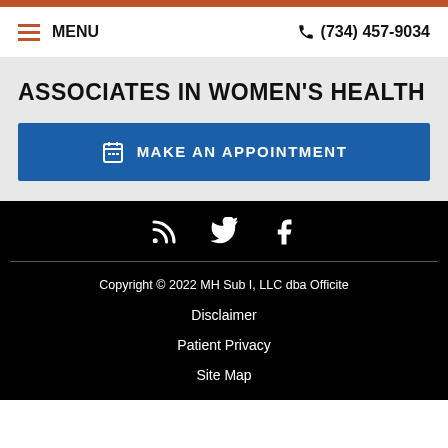MENU  (734) 457-9034
ASSOCIATES IN WOMEN'S HEALTH
MAKE AN APPOINTMENT
[Figure (illustration): Social media icons: RSS feed, Twitter, Facebook in white on black background]
Copyright © 2022 MH Sub I, LLC dba Officite
Disclaimer
Patient Privacy
Site Map